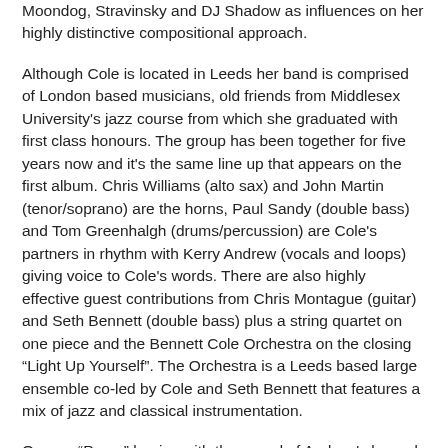Moondog, Stravinsky and DJ Shadow as influences on her highly distinctive compositional approach.
Although Cole is located in Leeds her band is comprised of London based musicians, old friends from Middlesex University's jazz course from which she graduated with first class honours. The group has been together for five years now and it's the same line up that appears on the first album. Chris Williams (alto sax) and John Martin (tenor/soprano) are the horns, Paul Sandy (double bass) and Tom Greenhalgh (drums/percussion) are Cole's partners in rhythm with Kerry Andrew (vocals and loops) giving voice to Cole's words. There are also highly effective guest contributions from Chris Montague (guitar) and Seth Bennett (double bass) plus a string quartet on one piece and the Bennett Cole Orchestra on the closing “Light Up Yourself”. The Orchestra is a Leeds based large ensemble co-led by Cole and Seth Bennett that features a mix of jazz and classical instrumentation.
Opener “Puma” begins with the sound of Andrew's looped and layered voice intoning the phrase “safe again”, subsequently shadowed by the soft timbres of the horns. It’s soothing and gentle